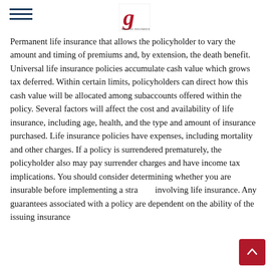[Logo: Gibsons Insurance] [Hamburger menu icon]
Permanent life insurance that allows the policyholder to vary the amount and timing of premiums and, by extension, the death benefit. Universal life insurance policies accumulate cash value which grows tax deferred. Within certain limits, policyholders can direct how this cash value will be allocated among subaccounts offered within the policy. Several factors will affect the cost and availability of life insurance, including age, health, and the type and amount of insurance purchased. Life insurance policies have expenses, including mortality and other charges. If a policy is surrendered prematurely, the policyholder also may pay surrender charges and have income tax implications. You should consider determining whether you are insurable before implementing a strategy involving life insurance. Any guarantees associated with a policy are dependent on the ability of the issuing insurance